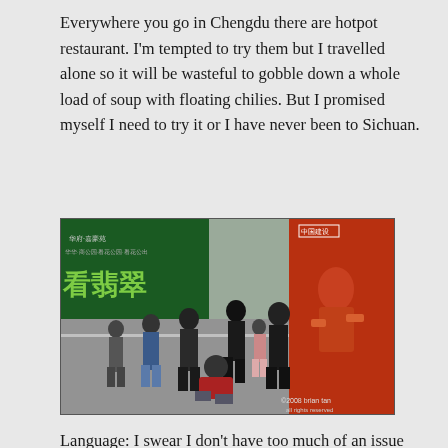Everywhere you go in Chengdu there are hotpot restaurant. I'm tempted to try them but I travelled alone so it will be wasteful to gobble down a whole load of soup with floating chilies. But I promised myself I need to try it or I have never been to Sichuan.
[Figure (photo): Street scene in Chengdu, China showing pedestrians walking on a sidewalk. A man in a red shirt is crouching. There are large advertisement signs in the background including a green sign with Chinese characters and a red advertisement. Photo credit: ©2008 brian tan all rights reserved.]
Language: I swear I don't have too much of an issue with the local Sichuanese dialect, at least I understand it as much as I